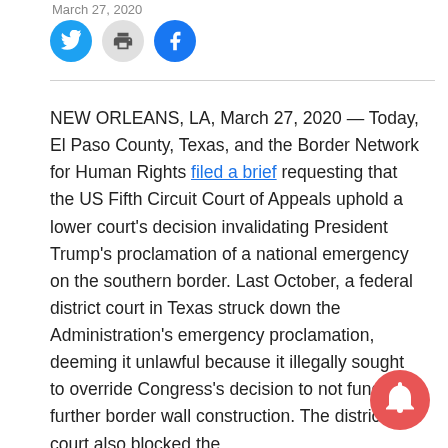March 27, 2020
[Figure (other): Social sharing icons: Twitter (blue circle), Print (gray circle), Facebook (blue circle)]
NEW ORLEANS, LA, March 27, 2020 — Today, El Paso County, Texas, and the Border Network for Human Rights filed a brief requesting that the US Fifth Circuit Court of Appeals uphold a lower court's decision invalidating President Trump's proclamation of a national emergency on the southern border. Last October, a federal district court in Texas struck down the Administration's emergency proclamation, deeming it unlawful because it illegally sought to override Congress's decision to not fund further border wall construction. The district court also blocked the